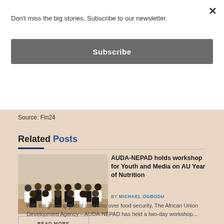Don't miss the big stories. Subscribe to our newsletter.
Subscribe
Source: Fin24
Related Posts
AUDA-NEPAD holds workshop for Youth and Media on AU Year of Nutrition
BY MICHAEL OGBODU
With the growing global concerns over food security, The African Union Development Agency – AUDA-NEPAD has held a two-day workshop...
READ MORE